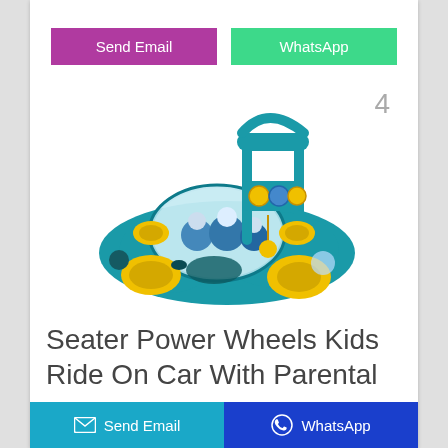[Figure (other): Two buttons: 'Send Email' (purple/magenta) and 'WhatsApp' (green teal)]
4
[Figure (photo): A teal/blue kids ride-on car toy shaped like a futuristic vehicle with yellow wheels, a transparent dome showing animal figures inside, gear decorations, and a large handle/push bar at the back. The toy has a playful, colorful design.]
Seater Power Wheels Kids Ride On Car With Parental ...
[Figure (other): Footer bar with two buttons: 'Send Email' (teal/cyan with envelope icon) and 'WhatsApp' (dark blue with WhatsApp icon)]